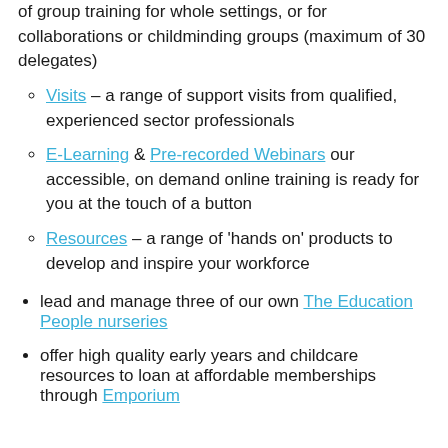of group training for whole settings, or for collaborations or childminding groups (maximum of 30 delegates)
Visits – a range of support visits from qualified, experienced sector professionals
E-Learning & Pre-recorded Webinars our accessible, on demand online training is ready for you at the touch of a button
Resources – a range of 'hands on' products to develop and inspire your workforce
lead and manage three of our own The Education People nurseries
offer high quality early years and childcare resources to loan at affordable memberships through Emporium